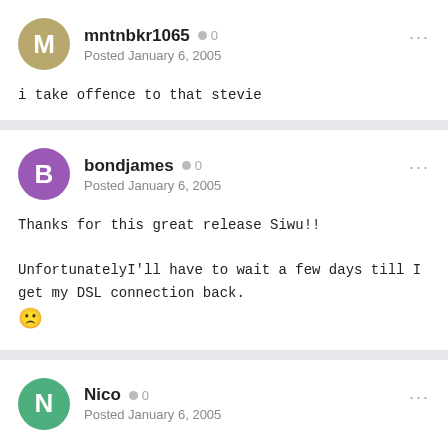mntnbkr1065 • 0
Posted January 6, 2005
i take offence to that stevie
bondjames • 0
Posted January 6, 2005
Thanks for this great release Siwu!!

UnfortunatelyI'll have to wait a few days till I get my DSL connection back.

🙁
Nico • 0
Posted January 6, 2005